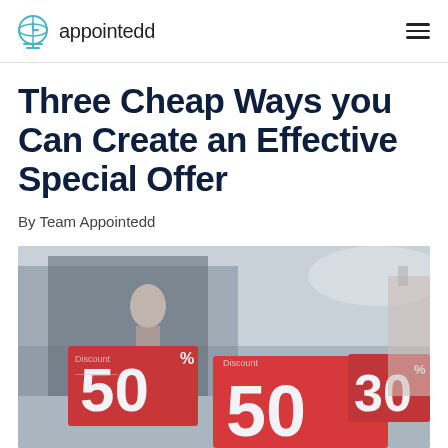appointedd
Three Cheap Ways you Can Create an Effective Special Offer
By Team Appointedd
[Figure (photo): A retail store display with red discount signs showing 50%, 50% and 30% off, clothing items visible in the background, blurred store interior.]